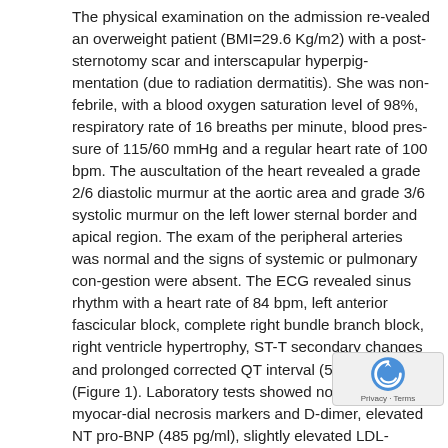The physical examination on the admission re-vealed an overweight patient (BMI=29.6 Kg/m2) with a post-sternotomy scar and interscapular hyperpig-mentation (due to radiation dermatitis). She was non-febrile, with a blood oxygen saturation level of 98%, respiratory rate of 16 breaths per minute, blood pres-sure of 115/60 mmHg and a regular heart rate of 100 bpm. The auscultation of the heart revealed a grade 2/6 diastolic murmur at the aortic area and grade 3/6 systolic murmur on the left lower sternal border and apical region. The exam of the peripheral arteries was normal and the signs of systemic or pulmonary con-gestion were absent. The ECG revealed sinus rhythm with a heart rate of 84 bpm, left anterior fascicular block, complete right bundle branch block, right ventricle hypertrophy, ST-T secondary changes and prolonged corrected QT interval (504 ms) (Figure 1). Laboratory tests showed normal values of myocar-dial necrosis markers and D-dimer, elevated NT pro-BNP (485 pg/ml), slightly elevated LDL-cholesterol, hyperuricemia, and high values of thyroid stimulating hormone. The complete hemogram, liver function tests, renal function tests and ionogram were in nor-mal limits. Transthoracic (TTE) and transesophageal (TEE) echocardiography revealed normal cardiac chambers size